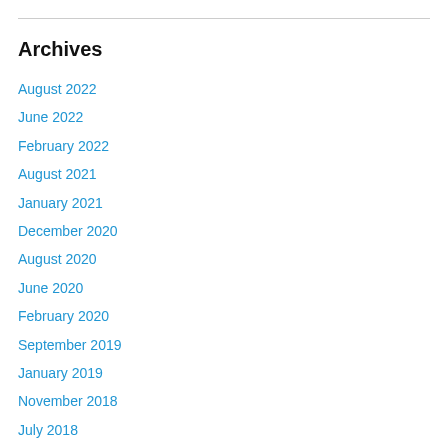Archives
August 2022
June 2022
February 2022
August 2021
January 2021
December 2020
August 2020
June 2020
February 2020
September 2019
January 2019
November 2018
July 2018
June 2018
March 2018
January 2018